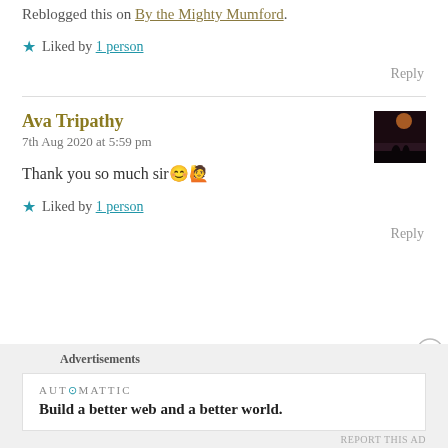Reblogged this on By the Mighty Mumford.
★ Liked by 1 person
Reply
Ava Tripathy
7th Aug 2020 at 5:59 pm
Thank you so much sir😊🙋
★ Liked by 1 person
Reply
Advertisements
AUT⊙MATTIC
Build a better web and a better world.